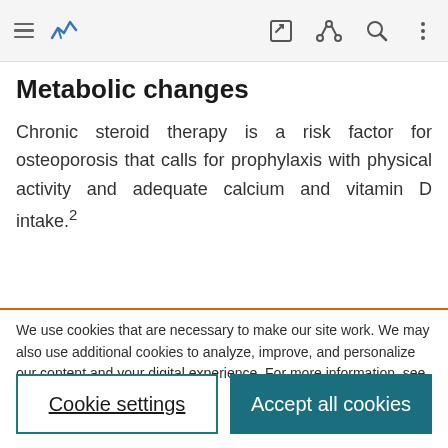[Navigation bar with menu, logo, edit, share, search, more icons]
Metabolic changes
Chronic steroid therapy is a risk factor for osteoporosis that calls for prophylaxis with physical activity and adequate calcium and vitamin D intake.²
We use cookies that are necessary to make our site work. We may also use additional cookies to analyze, improve, and personalize our content and your digital experience. For more information, see our Cookie Policy